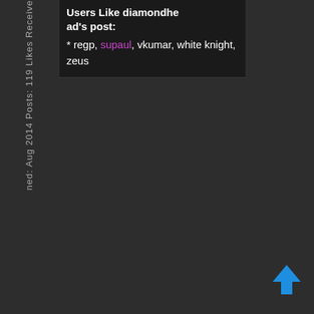ned: Aug 2014 Posts: 119 Likes Received
Users Like diamondhead's post: * regp, supaul, vkumar, white knight, zeus
[Figure (illustration): Blue upward arrow button in bottom right corner]